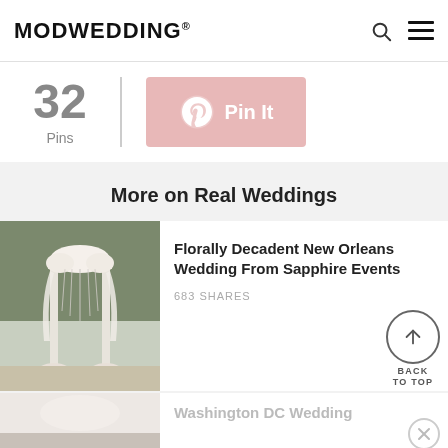MODWEDDING®
32 Pins
Pin It
More on Real Weddings
[Figure (photo): Outdoor wedding arch decorated with white flowers and hanging crystals/draping, set among trees]
Florally Decadent New Orleans Wedding From Sapphire Events
683 SHARES
[Figure (photo): Partially visible second wedding article image showing a wedding ceremony scene]
Washington DC Wedding